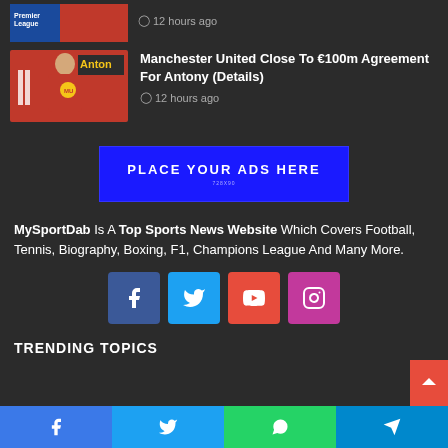[Figure (photo): Partial article thumbnail - Premier League related image, partially visible at top]
12 hours ago
[Figure (photo): Antony in Manchester United red jersey next to Antony name graphic and Manchester United crest]
Manchester United Close To €100m Agreement For Antony (Details)
12 hours ago
[Figure (infographic): Advertisement banner: PLACE YOUR ADS HERE]
MySportDab Is A Top Sports News Website Which Covers Football, Tennis, Biography, Boxing, F1, Champions League And Many More.
[Figure (infographic): Social media icons: Facebook, Twitter, YouTube, Instagram]
TRENDING TOPICS
[Figure (infographic): Bottom share bar: Facebook, Twitter, WhatsApp, Telegram]